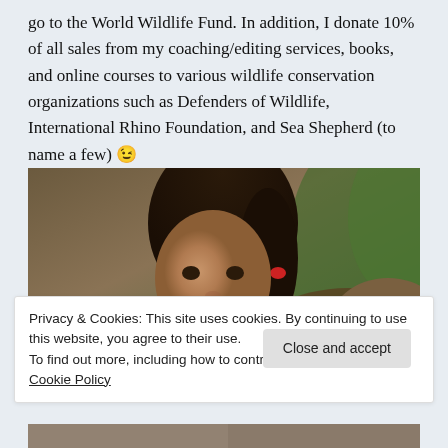go to the World Wildlife Fund. In addition, I donate 10% of all sales from my coaching/editing services, books, and online courses to various wildlife conservation organizations such as Defenders of Wildlife, International Rhino Foundation, and Sea Shepherd (to name a few) 😉
[Figure (photo): A smiling woman with dark hair in a ponytail leaning toward an animal (possibly a bear or large mammal), photographed outdoors with a blurred natural background.]
Privacy & Cookies: This site uses cookies. By continuing to use this website, you agree to their use.
To find out more, including how to control cookies, see here: Cookie Policy
Close and accept